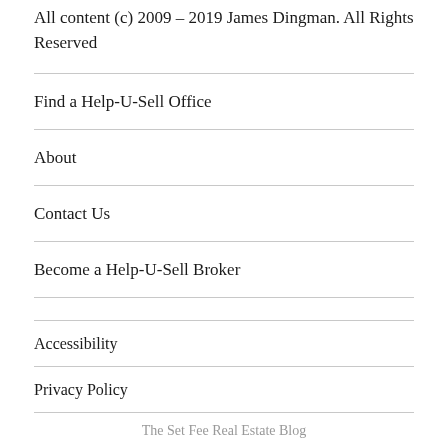All content (c) 2009 – 2019 James Dingman. All Rights Reserved
Find a Help-U-Sell Office
About
Contact Us
Become a Help-U-Sell Broker
Accessibility
Privacy Policy
The Set Fee Real Estate Blog